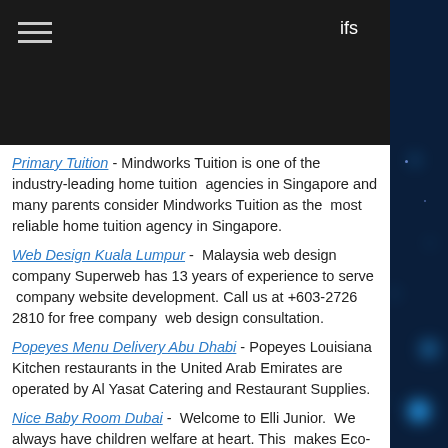ifs
Primary Tuition - Mindworks Tuition is one of the industry-leading home tuition agencies in Singapore and many parents consider Mindworks Tuition as the most reliable home tuition agency in Singapore.
Web Design Kuala Lumpur - Malaysia web design company Superweb has 13 years of experience to serve company website development. Call us at +603-2726 2810 for free company web design consultation.
Popeyes Menu Delivery Abu Dhabi - Popeyes Louisiana Kitchen restaurants in the United Arab Emirates are operated by Al Yasat Catering and Restaurant Supplies.
Nice Baby Room Dubai - Welcome to Elli Junior. We always have children welfare at heart. This makes Eco-Awareness and social responsibility a natural part of our philosophy.